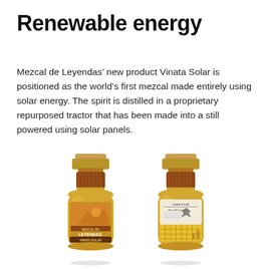Renewable energy
Mezcal de Leyendas’ new product Vinata Solar is positioned as the world’s first mezcal made entirely using solar energy. The spirit is distilled in a proprietary repurposed tractor that has been made into a still powered using solar panels.
[Figure (photo): Two bottles of Mezcal de Leyendas Vinata Solar mezcal. The bottles are short and round with amber/golden liquid inside, featuring gold and copper-toned caps. The left bottle shows the front label with 'MEZCAL DE LEYENDAS' and 'VINATA SOLAR'. The right bottle shows the back label with product information and an image of solar panels.]